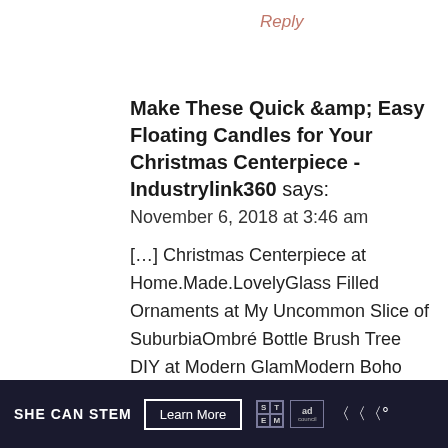Reply
Make These Quick &amp; Easy Floating Candles for Your Christmas Centerpiece - Industrylink360 says:
November 6, 2018 at 3:46 am
[...] Christmas Centerpiece at Home.Made.LovelyGlass Filled Ornaments at My Uncommon Slice of SuburbiaOmbré Bottle Brush Tree DIY at Modern GlamModern Boho
[Figure (infographic): SHE CAN STEM advertisement banner with Learn More button, STEM grid logo, Ad Council logo, and wave logo on dark navy background]